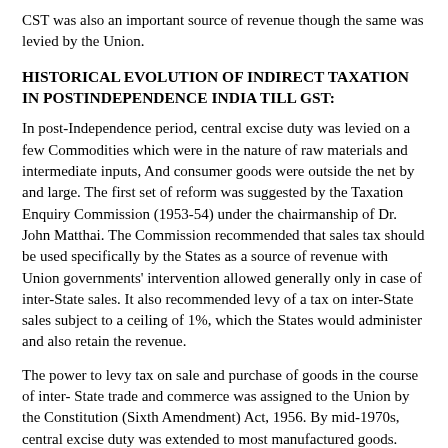CST was also an important source of revenue though the same was levied by the Union.
HISTORICAL EVOLUTION OF INDIRECT TAXATION IN POSTINDEPENDENCE INDIA TILL GST:
In post-Independence period, central excise duty was levied on a few Commodities which were in the nature of raw materials and intermediate inputs, And consumer goods were outside the net by and large. The first set of reform was suggested by the Taxation Enquiry Commission (1953-54) under the chairmanship of Dr. John Matthai. The Commission recommended that sales tax should be used specifically by the States as a source of revenue with Union governments' intervention allowed generally only in case of inter-State sales. It also recommended levy of a tax on inter-State sales subject to a ceiling of 1%, which the States would administer and also retain the revenue.
The power to levy tax on sale and purchase of goods in the course of inter- State trade and commerce was assigned to the Union by the Constitution (Sixth Amendment) Act, 1956. By mid-1970s, central excise duty was extended to most manufactured goods. Central excise duty was levied on unit, called specific duty, and on